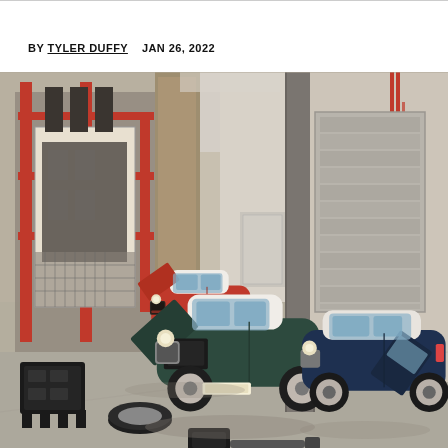BY TYLER DUFFY    JAN 26, 2022
[Figure (photo): Three classic Mini Cooper cars in an industrial warehouse/factory setting. A red Mini with hood open on the left, a dark green Mini with hood open in the center foreground with engine and parts scattered on the floor, and a blue Mini on the right with door open. Red metal industrial machinery and brick walls in the background.]